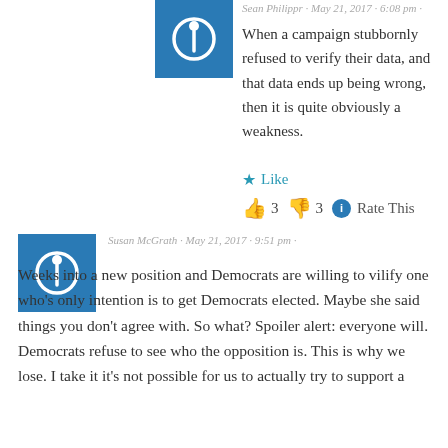Sean Philippr · May 21, 2017 · 6:08 pm ·
When a campaign stubbornly refused to verify their data, and that data ends up being wrong, then it is quite obviously a weakness.
★ Like
👍 3  👎 3  ℹ Rate This
Susan McGrath · May 21, 2017 · 9:51 pm ·
Weeks into a new position and Democrats are willing to vilify one who's only intention is to get Democrats elected. Maybe she said things you don't agree with. So what? Spoiler alert: everyone will. Democrats refuse to see who the opposition is. This is why we lose. I take it it's not possible for us to actually try to support a